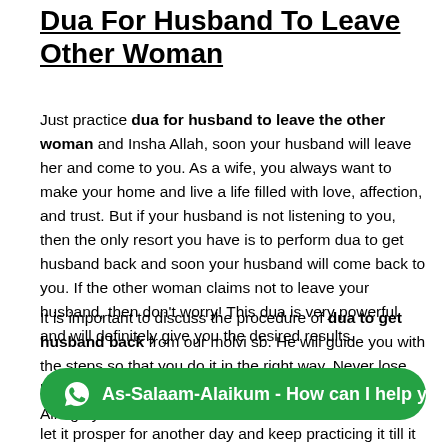Dua For Husband To Leave Other Woman
Just practice dua for husband to leave the other woman and Insha Allah, soon your husband will leave her and come to you. As a wife, you always want to make your home and live a life filled with love, affection, and trust. But if your husband is not listening to you, then the only resort you have is to perform dua to get husband back and soon your husband will come back to you. If the other woman claims not to leave your husband, then don't worry! This dua is very powerful and will definitely give you the desired results.
It is important to discuss the procedure of dua to get husband back from our molvi sb. He will guide you with the steps so that you do it in the right way. Never lose hope when you are praying and pleading in front of the Almighty. This Dua w
let it prosper for another day and keep practicing it till it is
[Figure (other): WhatsApp chat button with green background and text: As-Salaam-Alaikum - How can I help you?]